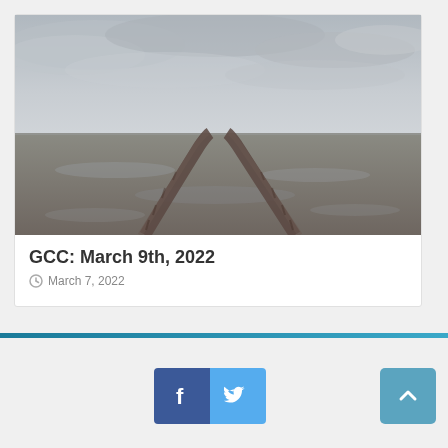[Figure (photo): Black and white photograph of tire tracks receding into the distance across a flat, wet muddy field under a cloudy sky]
GCC: March 9th, 2022
March 7, 2022
[Figure (other): Social media share buttons: Facebook (blue square with f logo) and Twitter (light blue square with bird logo), plus an up/back-to-top button (teal square with up chevron)]